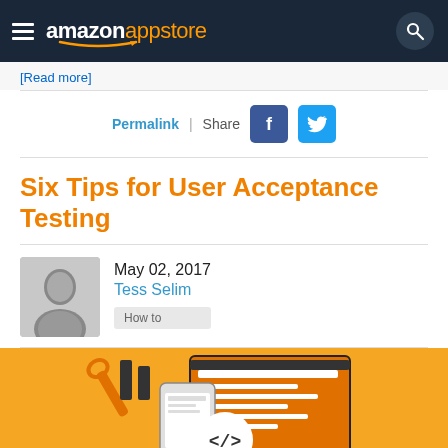amazon appstore
[Read more]
Permalink | Share
Six Tips for User Acceptance Testing
May 02, 2017
Tess Selim
How to
[Figure (illustration): Hero illustration with orange background showing mobile app development icons: code brackets, wrench, mobile phone, and UI elements]